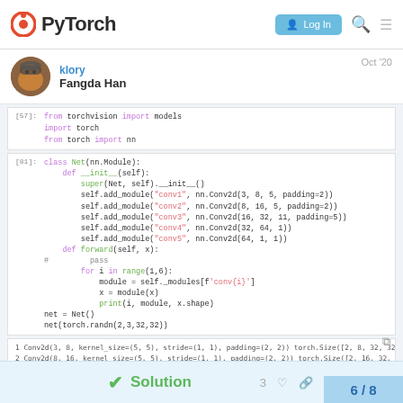[Figure (logo): PyTorch logo with circular icon and text]
PyTorch | Log In
klory
Fangda Han
Oct '20
from torchvision import models
import torch
from torch import nn
class Net(nn.Module):
    def __init__(self):
        super(Net, self).__init__()
        self.add_module("conv1", nn.Conv2d(3, 8, 5, padding=2))
        self.add_module("conv2", nn.Conv2d(8, 16, 5, padding=2))
        self.add_module("conv3", nn.Conv2d(16, 32, 11, padding=5))
        self.add_module("conv4", nn.Conv2d(32, 64, 1))
        self.add_module("conv5", nn.Conv2d(64, 1, 1))
    def forward(self, x):
#         pass
        for i in range(1,6):
            module = self._modules[f'conv{i}']
            x = module(x)
            print(i, module, x.shape)
net = Net()
net(torch.randn(2,3,32,32))
1 Conv2d(3, 8, kernel_size=(5, 5), stride=(1, 1), padding=(2, 2)) torch.Size([2, 8, 32, 32])
2 Conv2d(8, 16, kernel_size=(5, 5), stride=(1, 1), padding=(2, 2)) torch.Size([2, 16, 32, 32])
3 Conv2d(16, 32, kernel_size=(11, 11), stride=(1, 1), padding=(5, 5)) torch.Size([2, 32, 32, 32])
4 Conv2d(32, 64, kernel_size=(1, 1), stride=(1, 1)) torch.Size([2, 64, 32, 32])
5 Conv2d(64, 1, kernel_size=(1, 1), stride=(1, 1)) torch.Size([2, 1, 32, 32])
Solution
6 / 8